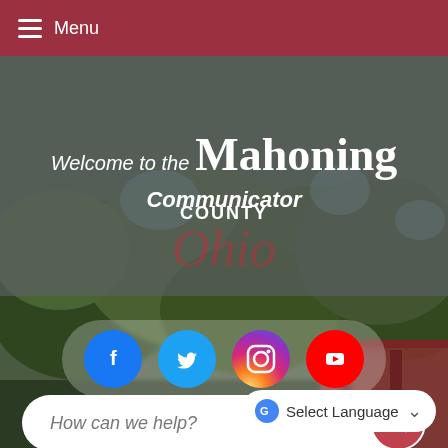Menu
Welcome to the Mahoning COUNTY Communicator
[Figure (screenshot): Social media icons row: Facebook, Twitter, Instagram, YouTube on semi-transparent pill background]
How can we help?
Select Language